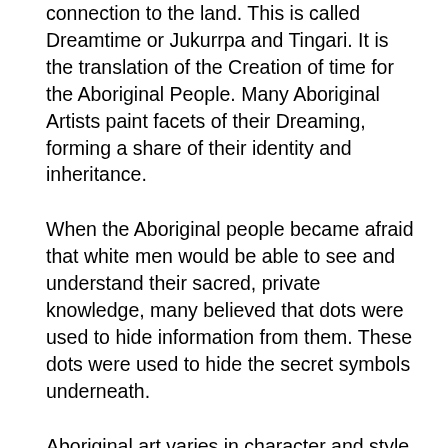connection to the land. This is called Dreamtime or Jukurrpa and Tingari. It is the translation of the Creation of time for the Aboriginal People. Many Aboriginal Artists paint facets of their Dreaming, forming a share of their identity and inheritance.
When the Aboriginal people became afraid that white men would be able to see and understand their sacred, private knowledge, many believed that dots were used to hide information from them. These dots were used to hide the secret symbols underneath.
Aboriginal art varies in character and style, depending on which region the artist came from, and what language is spoken. There are lots of contemporary art that can be recognized from the community where it was created. One example is the use of ochre paints, which is marked in Arnhem Land and east